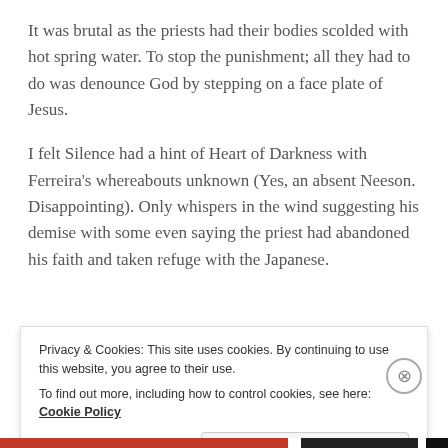It was brutal as the priests had their bodies scolded with hot spring water. To stop the punishment; all they had to do was denounce God by stepping on a face plate of Jesus.
I felt Silence had a hint of Heart of Darkness with Ferreira's whereabouts unknown (Yes, an absent Neeson. Disappointing). Only whispers in the wind suggesting his demise with some even saying the priest had abandoned his faith and taken refuge with the Japanese.
Privacy & Cookies: This site uses cookies. By continuing to use this website, you agree to their use.
To find out more, including how to control cookies, see here: Cookie Policy